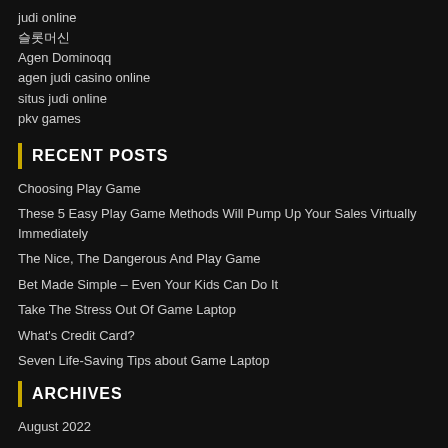judi online
슬롯머신
Agen Dominoqq
agen judi casino online
situs judi online
pkv games
RECENT POSTS
Choosing Play Game
These 5 Easy Play Game Methods Will Pump Up Your Sales Virtually Immediately
The Nice, The Dangerous And Play Game
Bet Made Simple – Even Your Kids Can Do It
Take The Stress Out Of Game Laptop
What's Credit Card?
Seven Life-Saving Tips about Game Laptop
ARCHIVES
August 2022